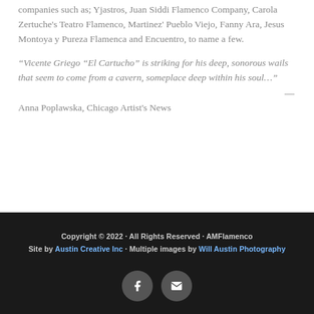companies such as; Yjastros, Juan Siddi Flamenco Company, Carola Zertuche's Teatro Flamenco, Martinez' Pueblo Viejo, Fanny Ara, Jesus Montoya y Pureza Flamenca and Encuentro, to name a few.
“Vicente Griego “El Cartucho” is striking for his deep, sonorous wails that seem to come from a cavern, someplace deep within his soul…”
Anna Poplawska, Chicago Artist’s News
Copyright © 2022 · All Rights Reserved · AMFlamenco
Site by Austin Creative Inc · Multiple images by Will Austin Photography